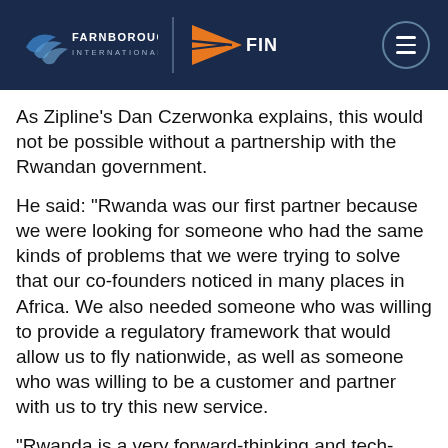[Figure (logo): Farnborough International and FINN logos on dark navy header bar with hamburger menu icon]
As Zipline’s Dan Czerwonka explains, this would not be possible without a partnership with the Rwandan government.
He said: “Rwanda was our first partner because we were looking for someone who had the same kinds of problems that we were trying to solve that our co-founders noticed in many places in Africa. We also needed someone who was willing to provide a regulatory framework that would allow us to fly nationwide, as well as someone who was willing to be a customer and partner with us to try this new service.
“Rwanda is a very forward-thinking and tech-